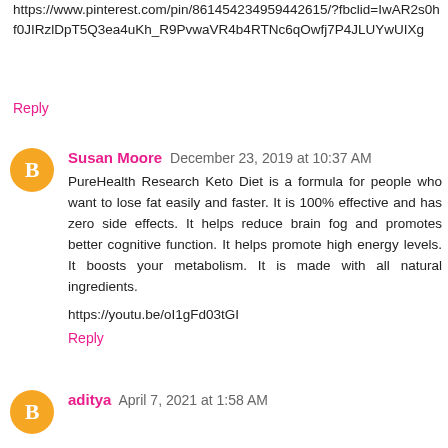https://www.pinterest.com/pin/861454234959442615/?fbclid=IwAR2s0hf0JIRzlDpT5Q3ea4uKh_R9PvwaVR4b4RTNc6qOwfj7P4JLUYwUIXg
Reply
Susan Moore  December 23, 2019 at 10:37 AM
PureHealth Research Keto Diet is a formula for people who want to lose fat easily and faster. It is 100% effective and has zero side effects. It helps reduce brain fog and promotes better cognitive function. It helps promote high energy levels. It boosts your metabolism. It is made with all natural ingredients.
https://youtu.be/oI1gFd03tGI
Reply
aditya  April 7, 2021 at 1:58 AM